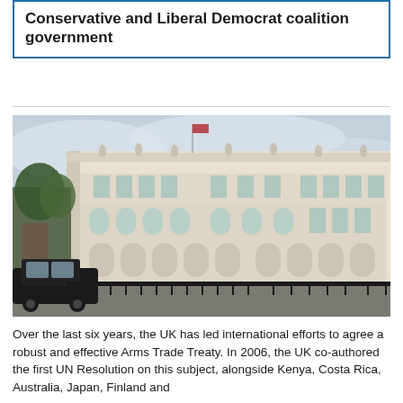Conservative and Liberal Democrat coalition government
[Figure (photo): Exterior photograph of a large ornate classical government building in London, with arched windows, columns, and statues along the roofline. A black taxi cab and trees are visible in the foreground.]
Over the last six years, the UK has led international efforts to agree a robust and effective Arms Trade Treaty. In 2006, the UK co-authored the first UN Resolution on this subject, alongside Kenya, Costa Rica, Australia, Japan, Finland and